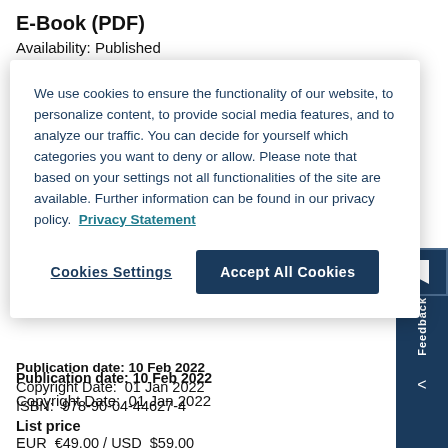E-Book (PDF)
Availability:  Published
We use cookies to ensure the functionality of our website, to personalize content, to provide social media features, and to analyze our traffic. You can decide for yourself which categories you want to deny or allow. Please note that based on your settings not all functionalities of the site are available. Further information can be found in our privacy policy.  Privacy Statement
Cookies Settings
Accept All Cookies
Publication date:  10 Feb 2022
Copyright Date:  01 Jan 2022
ISBN:  978-90-04-44627-4
List price
EUR  €49.00 / USD  $59.00
Hardback
Availability:  Published
Publication date:  10 Feb 2022